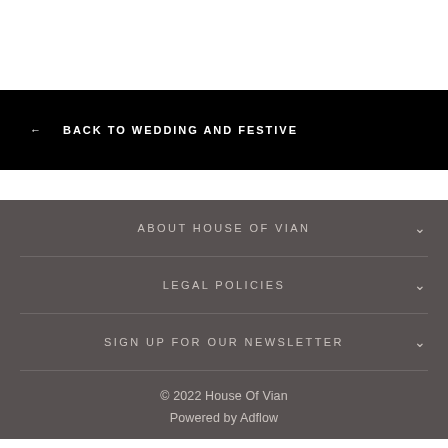← BACK TO WEDDING AND FESTIVE
ABOUT HOUSE OF VIAN
LEGAL POLICIES
SIGN UP FOR OUR NEWSLETTER
© 2022 House Of Vian
Powered by Adflow